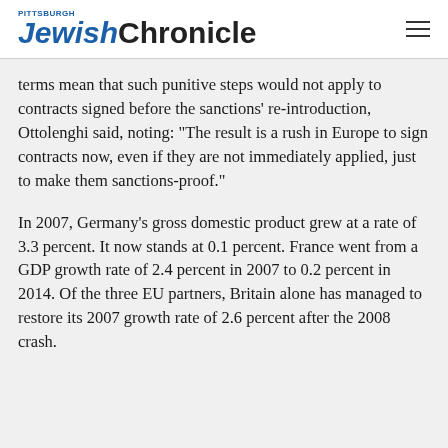Pittsburgh JewishChronicle
terms mean that such punitive steps would not apply to contracts signed before the sanctions' re-introduction, Ottolenghi said, noting: “The result is a rush in Europe to sign contracts now, even if they are not immediately applied, just to make them sanctions-proof.”
In 2007, Germany’s gross domestic product grew at a rate of 3.3 percent. It now stands at 0.1 percent. France went from a GDP growth rate of 2.4 percent in 2007 to 0.2 percent in 2014. Of the three EU partners, Britain alone has managed to restore its 2007 growth rate of 2.6 percent after the 2008 crash.